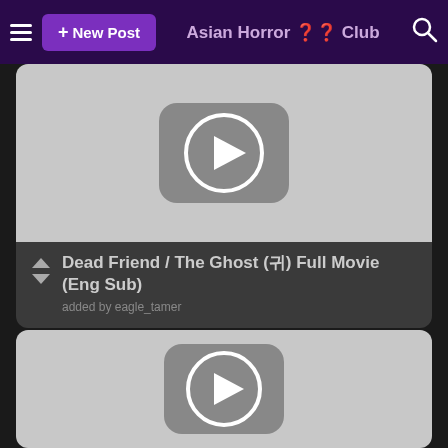Asian Horror 🎬 Club
[Figure (screenshot): Video thumbnail for Dead Friend / The Ghost movie, showing a YouTube-style play button icon on a light gray background]
Dead Friend / The Ghost (귀) Full Movie (Eng Sub)
added by eagle_tamer
[Figure (screenshot): Second video thumbnail showing a YouTube-style play button icon on a light gray background]